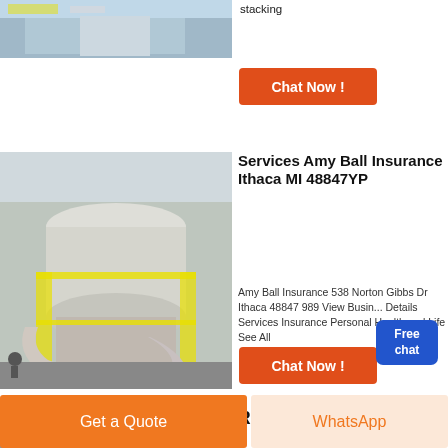[Figure (photo): Industrial facility interior photo at top]
stacking
Chat Now !
[Figure (photo): Large industrial machinery with yellow railings and ductwork]
Services Amy Ball Insurance Ithaca MI 48847YP
Amy Ball Insurance 538 Norton Gibbs Dr Ithaca 48847 989 View Business Details Services Insurance Personal Health and Life See All
Chat Now !
[Figure (photo): Industrial rubber or metal machinery photo at bottom]
Rubber
Get a Quote
WhatsApp